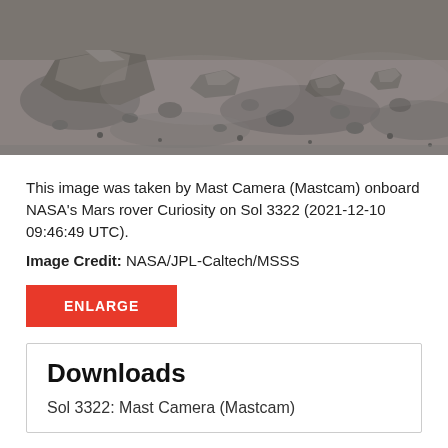[Figure (photo): Grayscale photograph of Martian surface showing rocks and rocky terrain taken by Mast Camera (Mastcam) onboard NASA's Mars rover Curiosity on Sol 3322.]
This image was taken by Mast Camera (Mastcam) onboard NASA's Mars rover Curiosity on Sol 3322 (2021-12-10 09:46:49 UTC).
Image Credit: NASA/JPL-Caltech/MSSS
ENLARGE
Downloads
Sol 3322: Mast Camera (Mastcam)